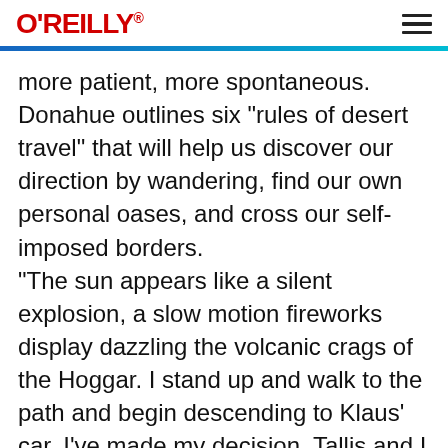O'REILLY
more patient, more spontaneous. Donahue outlines six "rules of desert travel" that will help us discover our direction by wandering, find our own personal oases, and cross our self-imposed borders. "The sun appears like a silent explosion, a slow motion fireworks display dazzling the volcanic crags of the Hoggar. I stand up and walk to the path and begin descending to Klaus' car. I've made my decision. Tallis and I will travel, somehow, to Agadez. I don't have a logical explanation for my decision or a plan to get to the last oasis. I know I am on